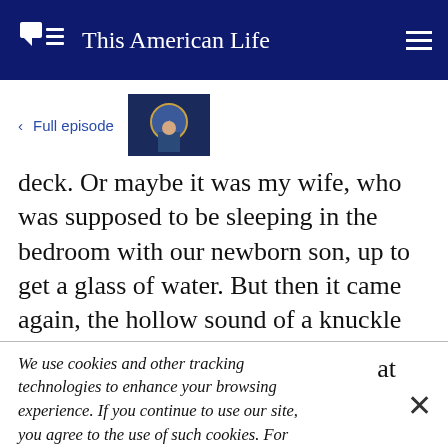This American Life
< Full episode
deck. Or maybe it was my wife, who was supposed to be sleeping in the bedroom with our newborn son, up to get a glass of water. But then it came again, the hollow sound of a knuckle
We use cookies and other tracking technologies to enhance your browsing experience. If you continue to use our site, you agree to the use of such cookies. For more info, see our privacy policy.
any spare condoms, of for one of my fellow